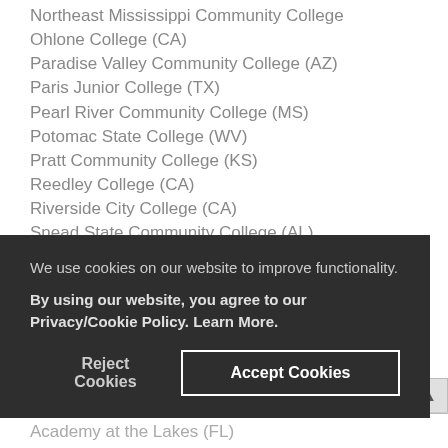Northeast Mississippi Community College
Ohlone College (CA)
Paradise Valley Community College (AZ)
Paris Junior College (TX)
Pearl River Community College (MS)
Potomac State College (WV)
Pratt Community College (KS)
Reedley College (CA)
Riverside City College (CA)
Snead State Community College (AL)
South Mountain Community College (AZ)
We use cookies on our website to improve functionality.
By using our website, you agree to our Privacy/Cookie Policy. Learn More.
Academy at the Lakes (FL)